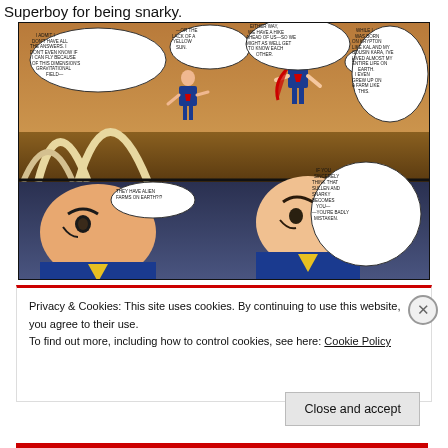Superboy for being snarky.
[Figure (illustration): Comic book panels showing Superman and Superboy flying over an alien landscape with speech bubbles. Top panel: both figures leaping/flying, speech bubbles reading 'I ADMIT I DON'T HAVE ALL THE ANSWERS. I DON'T EVEN KNOW IF I CAN FLY BECAUSE OF THIS DIMENSION'S GRAVITATIONAL FIELD—', '—OR THE LACK OF A YELLOW SUN.', 'EITHER WAY, WE HAVE A HIKE AHEAD OF US—SO WE MIGHT AS WELL GET TO KNOW EACH OTHER.', 'YOU FIRST.', 'WHILE I WAS BORN ON KRYPTON LIKE KAL AND MY COUSIN KARA, I'VE LIVED ALMOST MY ENTIRE LIFE ON EARTH. I EVEN GREW UP ON A FARM LIKE THIS.' Bottom panel: close-up of Superboy and Superman faces, speech bubbles reading 'THEY HAVE ALIEN FARMS ON EARTH?!?', 'IF YOU SINCERELY THINK THAT SULLEN AND SNARKY BECOMES YOU— —YOU'RE BADLY MISTAKEN.']
Privacy & Cookies: This site uses cookies. By continuing to use this website, you agree to their use. To find out more, including how to control cookies, see here: Cookie Policy
Close and accept